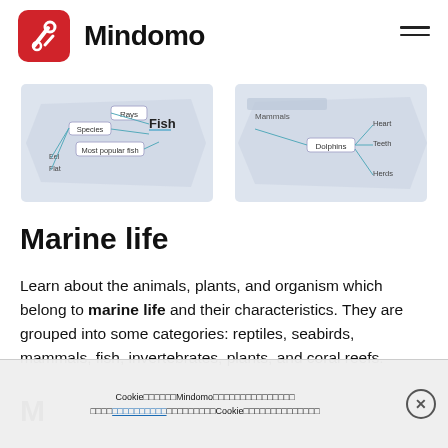Mindomo
[Figure (other): Two mind map diagrams showing marine life topics: left shows Fish with Rays, Species, Most popular fish, Eel, Flat subtopics; right shows Mammals with Dolphins, Heart, Teeth, Herds subtopics]
Marine life
Learn about the animals, plants, and organism which belong to marine life and their characteristics. They are grouped into some categories: reptiles, seabirds, mammals, fish, invertebrates, plants, and coral reefs.
Marine life
Cookie□□□□□□Mindomo□□□□□□□□□□□□□□□ □□□□□□□□□□□□□□□□□□□□□□□Cookie□□□□□□□□□□□□□□